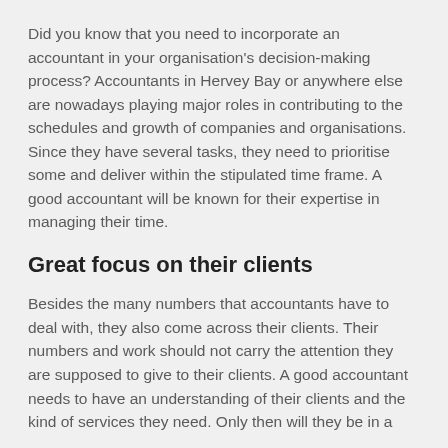Did you know that you need to incorporate an accountant in your organisation's decision-making process? Accountants in Hervey Bay or anywhere else are nowadays playing major roles in contributing to the schedules and growth of companies and organisations. Since they have several tasks, they need to prioritise some and deliver within the stipulated time frame. A good accountant will be known for their expertise in managing their time.
Great focus on their clients
Besides the many numbers that accountants have to deal with, they also come across their clients. Their numbers and work should not carry the attention they are supposed to give to their clients. A good accountant needs to have an understanding of their clients and the kind of services they need. Only then will they be in a